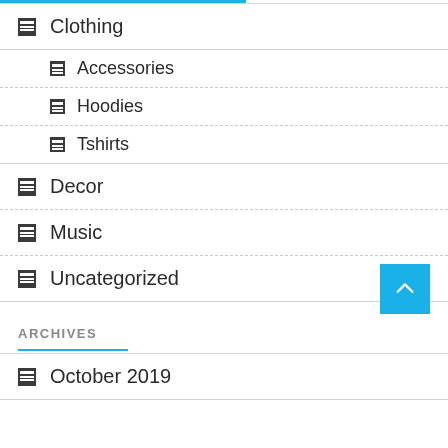Clothing
Accessories
Hoodies
Tshirts
Decor
Music
Uncategorized
ARCHIVES
October 2019